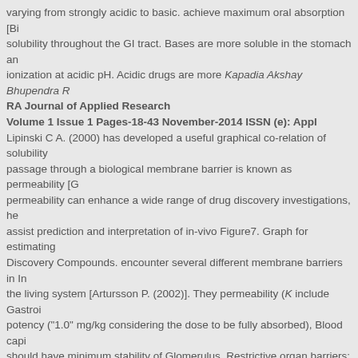varying from strongly acidic to basic. achieve maximum oral absorption [Bi solubility throughout the GI tract. Bases are more soluble in the stomach an ionization at acidic pH. Acidic drugs are more Kapadia Akshay Bhupendra R RA Journal of Applied Research Volume 1 Issue 1 Pages-18-43 November-2014 ISSN (e): Appl Lipinski C A. (2000) has developed a useful graphical co-relation of solubility passage through a biological membrane barrier is known as permeability [G permeability can enhance a wide range of drug discovery investigations, he assist prediction and interpretation of in-vivo Figure7. Graph for estimating Discovery Compounds. encounter several different membrane barriers in In the living system [Artursson P. (2002)]. They permeability (K include Gastroi potency ("1.0" mg/kg considering the dose to be fully absorbed), Blood capi should have minimum stability of Glomerulus, Restrictive organ barriers: Bl case of Brain Barriers and Target cell membrane. non-potent compounds, w membranes occurs by five 10mg/kg and having average permeability, the ma solubility must be 10 times higher i.e. Endocytosis, (c) Uptake transport, (d) provide cellular transport and (e) Efflux transport useful guidelines for optim Lin J. H. (1997)]. parameter during discovery. The following is the Lipid Bilay based on Solubility [Kerns, E. H.et al. (2010)]. Less than 10mcg/mL Low Solubility Moderate Solubility More than 60 mcg/mL Kapadia Akshay Bhupendra RAJA RA Journal of Applied Research